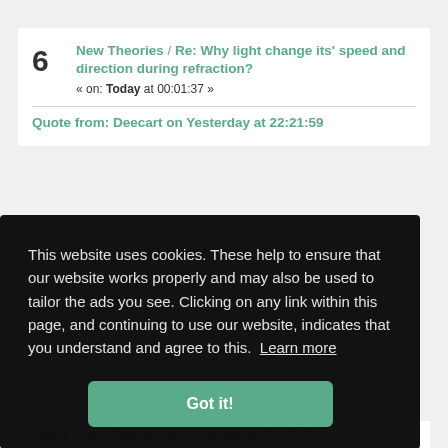6 New Theories / Re: Why light change its' speed and direction during refraction? « on: Today at 00:01:37 »
Quote from: Deecart on Yesterday at 22:21:59
This website uses cookies. These help to ensure that our website works properly and may also be used to tailor the ads you see. Clicking on any link within this page, and continuing to use our website, indicates that you understand and agree to this. Learn more
Got it!
Quote from: Deecart on Yesterday at 21:42:18